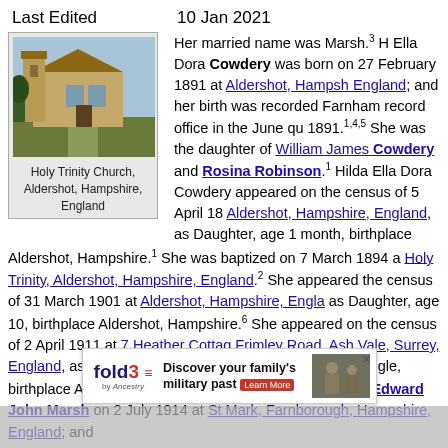Last Edited    10 Jan 2021
[Figure (photo): Photo of Holy Trinity Church, Aldershot, Hampshire, England - a stone church building]
Holy Trinity Church, Aldershot, Hampshire, England
Her married name was Marsh.3 H Ella Dora Cowdery was born on 27 February 1891 at Aldershot, Hampshire, England; and her birth was recorded Farnham record office in the June qua 1891.1,4,5 She was the daughter of William James Cowdery and Rosina Robinson.1 Hilda Ella Dora Cowdery appeared on the census of 5 April 18 Aldershot, Hampshire, England, as Daughter, age 1 month, birthplace Aldershot, Hampshire.1 She was baptized on 7 March 1894 a Holy Trinity, Aldershot, Hampshire, England.2 She appeared the census of 31 March 1901 at Aldershot, Hampshire, Engla as Daughter, age 10, birthplace Aldershot, Hampshire.6 She appeared on the census of 2 April 1911 at 7 Heather Cottage Frimley Road, Ash Vale, Surrey, England, as Maud Martha Cowdery, daughter, age 20, single, birthplace Aldershot, Hampshire, England.7 She married Edward John Marsh on 2 July 1914 at St Mark, Farnborough, Hampshire, England; and their ma d office the Sep ery died
[Figure (infographic): fold3 by Ancestry advertisement banner: Discover your family's military past - Learn More]
[Figure (photo): Black and white military photo of soldiers]